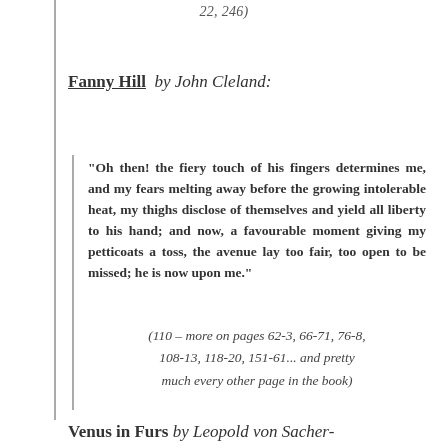22, 246)
Fanny Hill by John Cleland:
“Oh then! the fiery touch of his fingers determines me, and my fears melting away before the growing intolerable heat, my thighs disclose of themselves and yield all liberty to his hand; and now, a favourable moment giving my petticoats a toss, the avenue lay too fair, too open to be missed; he is now upon me.”
(110 – more on pages 62-3, 66-71, 76-8, 108-13, 118-20, 151-61... and pretty much every other page in the book)
Venus in Furs by Leopold von Sacher-